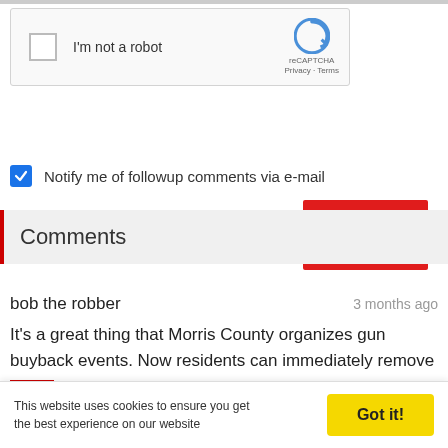[Figure (screenshot): reCAPTCHA widget with checkbox labeled I'm not a robot and reCAPTCHA logo with Privacy - Terms text]
POST COMMENT
Notify me of followup comments via e-mail
Comments
bob the robber
3 months ago
It's a great thing that Morris County organizes gun buyback events. Now residents can immediately remove dangerous items, especially guns
This website uses cookies to ensure you get the best experience on our website
Got it!